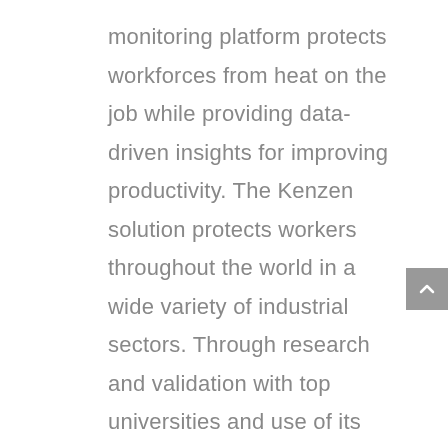monitoring platform protects workforces from heat on the job while providing data-driven insights for improving productivity. The Kenzen solution protects workers throughout the world in a wide variety of industrial sectors. Through research and validation with top universities and use of its system by more than 50 companies, Kenzen has amassed the largest known dataset of continuous core body temperature in the world and has the only peer-reviewed algorithm proven to predict core